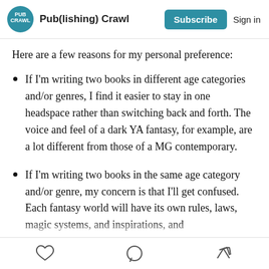Pub(lishing) Crawl — Subscribe  Sign in
Here are a few reasons for my personal preference:
If I'm writing two books in different age categories and/or genres, I find it easier to stay in one headspace rather than switching back and forth. The voice and feel of a dark YA fantasy, for example, are a lot different from those of a MG contemporary.
If I'm writing two books in the same age category and/or genre, my concern is that I'll get confused. Each fantasy world will have its own rules, laws, magic systems, and inspirations, and…
♡  ○  ↗